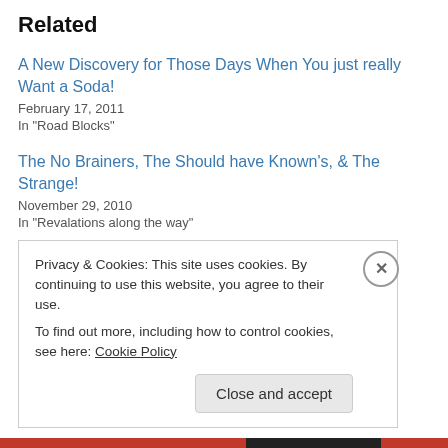Related
A New Discovery for Those Days When You just really Want a Soda!
February 17, 2011
In "Road Blocks"
The No Brainers, The Should have Known's, & The Strange!
November 29, 2010
In "Revalations along the way"
Weekly Update: Pretty good this week.
December 17, 2010
In "The Weekly Check in"
Privacy & Cookies: This site uses cookies. By continuing to use this website, you agree to their use.
To find out more, including how to control cookies, see here: Cookie Policy
Close and accept